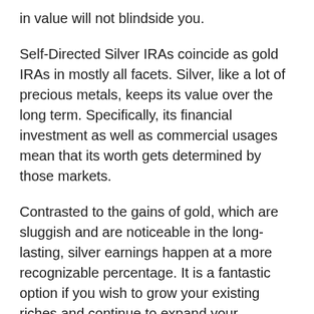in value will not blindside you.
Self-Directed Silver IRAs coincide as gold IRAs in mostly all facets. Silver, like a lot of precious metals, keeps its value over the long term. Specifically, its financial investment as well as commercial usages mean that its worth gets determined by those markets.
Contrasted to the gains of gold, which are sluggish and are noticeable in the long-lasting, silver earnings happen at a more recognizable percentage. It is a fantastic option if you wish to grow your existing riches and continue to expand your investment portfolio.